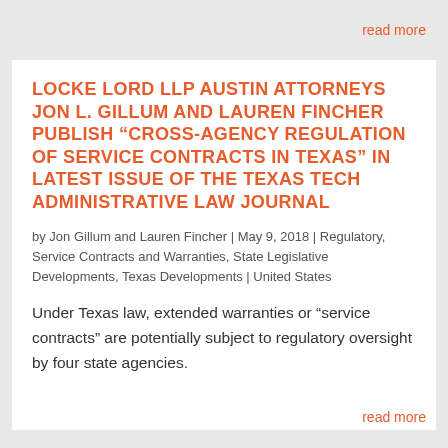read more
LOCKE LORD LLP AUSTIN ATTORNEYS JON L. GILLUM AND LAUREN FINCHER PUBLISH “CROSS-AGENCY REGULATION OF SERVICE CONTRACTS IN TEXAS” IN LATEST ISSUE OF THE TEXAS TECH ADMINISTRATIVE LAW JOURNAL
by Jon Gillum and Lauren Fincher | May 9, 2018 | Regulatory, Service Contracts and Warranties, State Legislative Developments, Texas Developments | United States
Under Texas law, extended warranties or “service contracts” are potentially subject to regulatory oversight by four state agencies.
read more